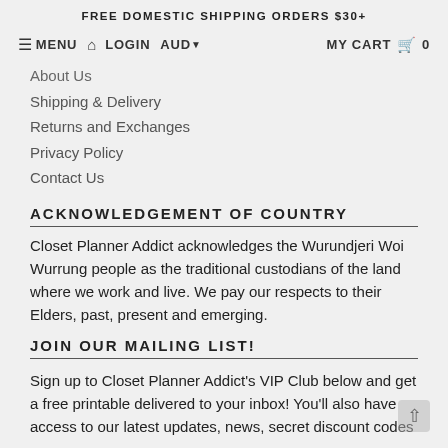FREE DOMESTIC SHIPPING ORDERS $30+
≡ MENU  🏠  LOGIN  AUD ▾  MY CART  🛒  0
About Us
Shipping & Delivery
Returns and Exchanges
Privacy Policy
Contact Us
ACKNOWLEDGEMENT OF COUNTRY
Closet Planner Addict acknowledges the Wurundjeri Woi Wurrung people as the traditional custodians of the land where we work and live. We pay our respects to their Elders, past, present and emerging.
JOIN OUR MAILING LIST!
Sign up to Closet Planner Addict's VIP Club below and get a free printable delivered to your inbox! You'll also have access to our latest updates, news, secret discount codes